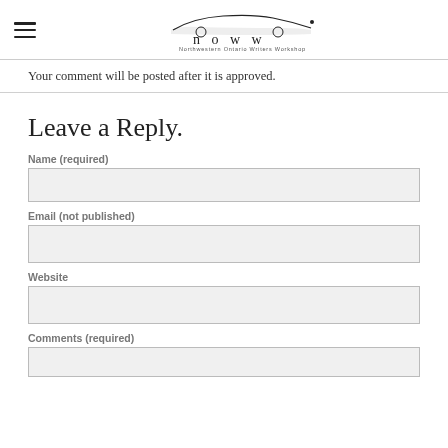NOWW - Northwestern Ontario Writers Workshop logo with hamburger menu
Your comment will be posted after it is approved.
Leave a Reply.
Name (required)
Email (not published)
Website
Comments (required)